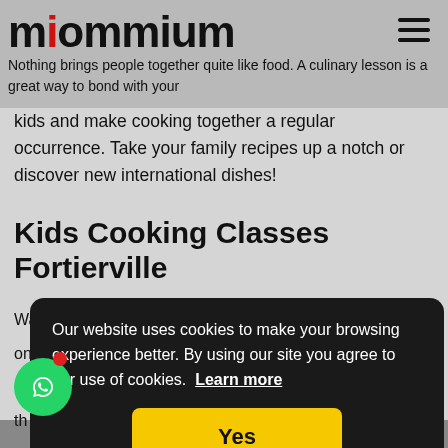miommium
Nothing brings people together quite like food. A culinary lesson is a great way to bond with your kids and make cooking together a regular occurrence. Take your family recipes up a notch or discover new international dishes!
Kids Cooking Classes Fortierville
Want [partial text obscured by cookie banner] ones [partial] new [partial] th[partial]
Our website uses cookies to make your browsing experience better. By using our site you agree to our use of cookies. Learn more
Yes